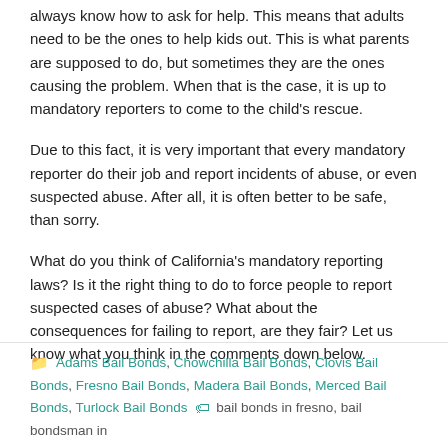always know how to ask for help. This means that adults need to be the ones to help kids out. This is what parents are supposed to do, but sometimes they are the ones causing the problem. When that is the case, it is up to mandatory reporters to come to the child's rescue.
Due to this fact, it is very important that every mandatory reporter do their job and report incidents of abuse, or even suspected abuse. After all, it is often better to be safe, than sorry.
What do you think of California's mandatory reporting laws? Is it the right thing to do to force people to report suspected cases of abuse? What about the consequences for failing to report, are they fair? Let us know what you think in the comments down below.
Adams Bail Bonds, Chowchilla Bail Bonds, Clovis Bail Bonds, Fresno Bail Bonds, Madera Bail Bonds, Merced Bail Bonds, Turlock Bail Bonds | bail bonds in fresno, bail bondsman in